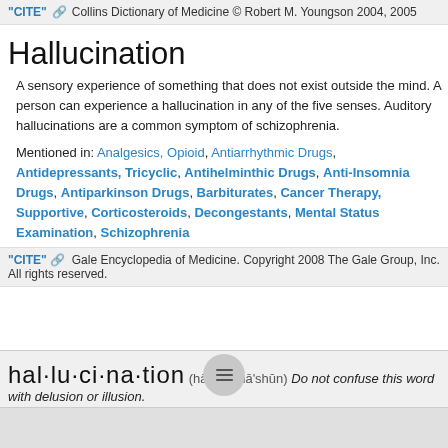"CITE" [link icon] Collins Dictionary of Medicine © Robert M. Youngson 2004, 2005
Hallucination
A sensory experience of something that does not exist outside the mind. A person can experience a hallucination in any of the five senses. Auditory hallucinations are a common symptom of schizophrenia.
Mentioned in: Analgesics, Opioid, Antiarrhythmic Drugs, Antidepressants, Tricyclic, Antihelminthic Drugs, Anti-Insomnia Drugs, Antiparkinson Drugs, Barbiturates, Cancer Therapy, Supportive, Corticosteroids, Decongestants, Mental Status Examination, Schizophrenia
"CITE" [link icon] Gale Encyclopedia of Medicine. Copyright 2008 The Gale Group, Inc. All rights reserved.
hal·lu·ci·na·tion (hā-lū'si-nā'shūn) Do not confuse this word with delusion or illusion.